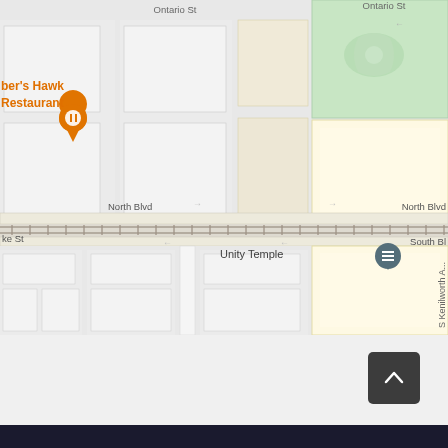[Figure (map): Google Maps screenshot showing Oak Park, IL area around 100 Forest Place. Shows streets including Ontario St, Lake St, North Blvd, South Blvd, S Kenilworth Ave. Notable landmarks include Scoville Park (green area), Unity Temple, The UPS Store, Cooper's Hawk Restaurant (orange pin), Maya Del Sol restaurant (orange pin), Oak Park train station (M marker), and a location pin at 100 Forest Place.]